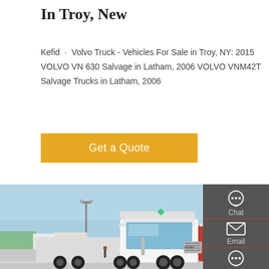In Troy, New
Kefid · Volvo Truck - Vehicles For Sale in Troy, NY: 2015 VOLVO VN 630 Salvage in Latham, 2006 VOLVO VNM42T Salvage Trucks in Latham, 2006
Get a Quote
[Figure (photo): A large white HOWO semi-truck/tractor unit photographed at what appears to be a truck exhibition or logistics yard, with other trucks and light poles visible in the background under a blue sky.]